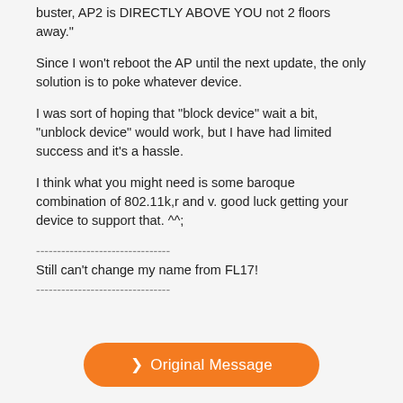buster, AP2 is DIRECTLY ABOVE YOU not 2 floors away."
Since I won't reboot the AP until the next update, the only solution is to poke whatever device.
I was sort of hoping that "block device" wait a bit, "unblock device" would work, but I have had limited success and it's a hassle.
I think what you might need is some baroque combination of 802.11k,r and v. good luck getting your device to support that. ^^;
--------------------------------
Still can't change my name from FL17!
--------------------------------
➤ Original Message